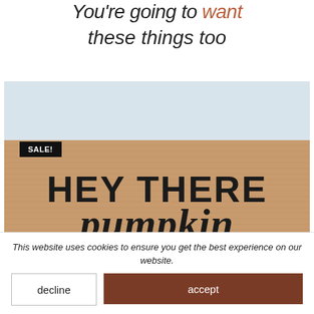You're going to want these things too
[Figure (photo): A doormat with 'HEY THERE pumpkin' text on a tan/burlap surface with a light grey/sky background. A black 'SALE!' badge is shown in the upper left of the image.]
This website uses cookies to ensure you get the best experience on our website.
decline
accept